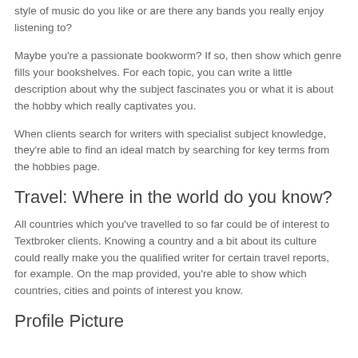style of music do you like or are there any bands you really enjoy listening to?
Maybe you're a passionate bookworm? If so, then show which genre fills your bookshelves. For each topic, you can write a little description about why the subject fascinates you or what it is about the hobby which really captivates you.
When clients search for writers with specialist subject knowledge, they're able to find an ideal match by searching for key terms from the hobbies page.
Travel: Where in the world do you know?
All countries which you've travelled to so far could be of interest to Textbroker clients. Knowing a country and a bit about its culture could really make you the qualified writer for certain travel reports, for example. On the map provided, you're able to show which countries, cities and points of interest you know.
Profile Picture